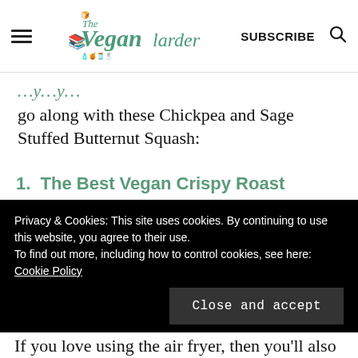The Vegan Larder | SUBSCRIBE
go along with these Chickpea and Sage Stuffed Butternut Squash:
The Best Vegan Crispy Roast Potatoes
Mustard Glazed Christmas Cocktail Sausages
Privacy & Cookies: This site uses cookies. By continuing to use this website, you agree to their use. To find out more, including how to control cookies, see here: Cookie Policy
If you love using the air fryer, then you'll also